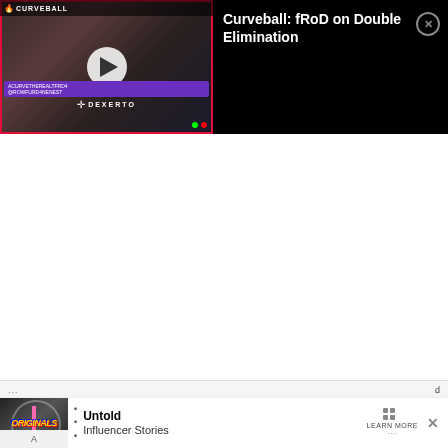[Figure (screenshot): Video player thumbnail showing a man wearing headphones, with Curveball branding, a play button overlay, and a purple overlay bar with text. The Dexerto logo appears at the bottom of the thumbnail.]
Curveball: fRoD on Double Elimination
[Figure (screenshot): Advertisement banner at the bottom showing 'ORIGINALS' logo on the left, a bullet point, and text reading 'Untold Influencer Stories' with a 'LEARN MORE' button and a close (X) button.]